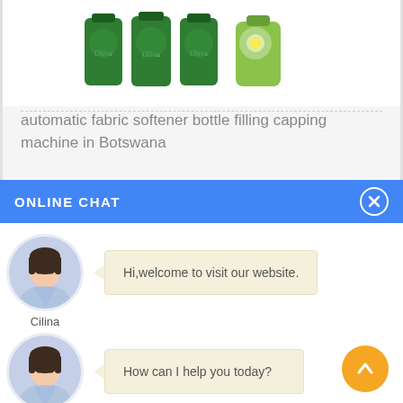[Figure (photo): Product image showing green Oliva brand bottles and a green cleaning product bottle]
automatic fabric softener bottle filling capping machine in Botswana
ONLINE CHAT
[Figure (illustration): Avatar of a woman named Cilina in a light blue shirt]
Cilina
Hi,welcome to visit our website.
[Figure (illustration): Avatar of a woman named Cilina in a light blue shirt]
Cilina
How can I help you today?